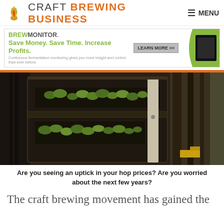CRAFT BREWING BUSINESS  MENU
[Figure (infographic): BrewMonitor advertisement banner: 'Save Money. Save Time. Increase Profits. Continuous fermentation monitoring gives you more insight and control than ever before.' with LEARN MORE button and device image on green background.]
[Figure (photo): Industrial hops processing conveyor or kiln with green hops visible on shelves/trays inside dark metallic machinery.]
Are you seeing an uptick in your hop prices? Are you worried about the next few years?
The craft brewing movement has gained the